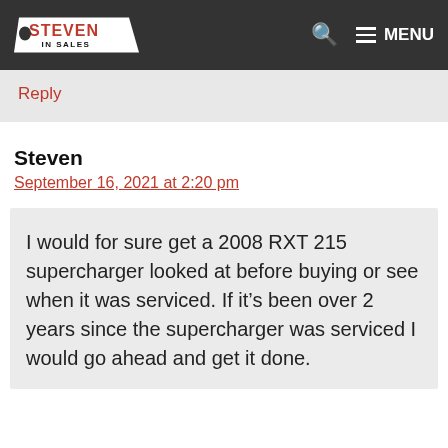Steven In Sales — site header with logo, search, and menu
Reply
Steven
September 16, 2021 at 2:20 pm
I would for sure get a 2008 RXT 215 supercharger looked at before buying or see when it was serviced. If it's been over 2 years since the supercharger was serviced I would go ahead and get it done.